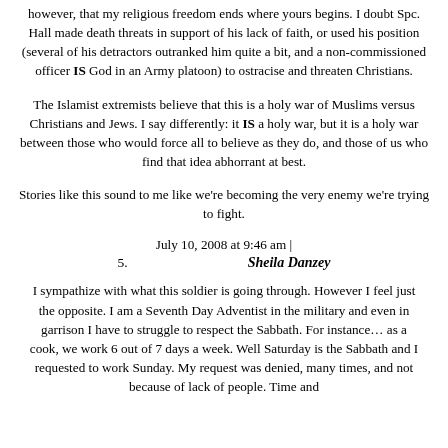however, that my religious freedom ends where yours begins. I doubt Spc. Hall made death threats in support of his lack of faith, or used his position (several of his detractors outranked him quite a bit, and a non-commissioned officer IS God in an Army platoon) to ostracise and threaten Christians.
The Islamist extremists believe that this is a holy war of Muslims versus Christians and Jews. I say differently: it IS a holy war, but it is a holy war between those who would force all to believe as they do, and those of us who find that idea abhorrant at best.
Stories like this sound to me like we're becoming the very enemy we're trying to fight.
July 10, 2008 at 9:46 am |
5.    Sheila Danzey
I sympathize with what this soldier is going through. However I feel just the opposite. I am a Seventh Day Adventist in the military and even in garrison I have to struggle to respect the Sabbath. For instance… as a cook, we work 6 out of 7 days a week. Well Saturday is the Sabbath and I requested to work Sunday. My request was denied, many times, and not because of lack of people. Time and